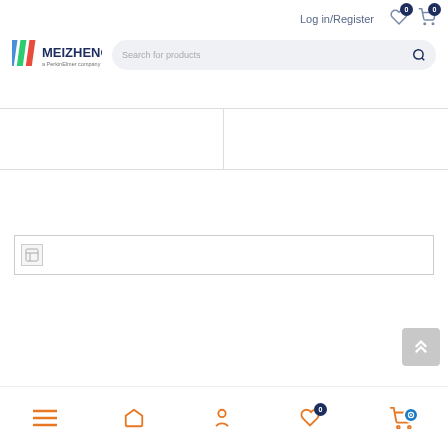Meizheng — a PerkinElmer company | Log in/Register | Search for products
[Figure (logo): Meizheng logo with striped M mark and text 'MEIZHENG a PerkinElmer company']
[Figure (screenshot): Two empty product card placeholders side by side, separated by a vertical dividing line, within a bordered row]
[Figure (screenshot): A broken image placeholder banner with small broken image icon on a white background with border]
[Figure (screenshot): Scroll-to-top button with double up-chevron icon, light grey rounded square]
Bottom navigation bar with hamburger menu, home, user, wishlist (0), and cart with chat icons